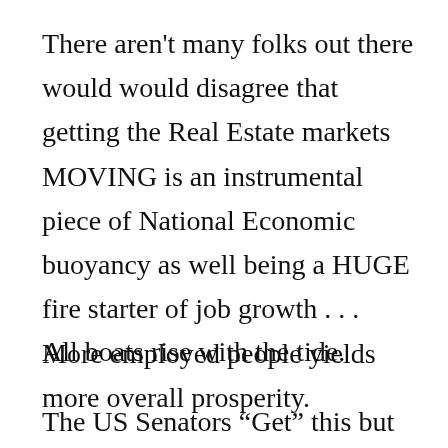There aren't many folks out there would would disagree that getting the Real Estate markets MOVING is an instrumental piece of National Economic buoyancy as well being a HUGE fire starter of job growth . . . More employed people yields more overall prosperity.
All boats rise with the tide.
The US Senators “Get” this but are having difficulty...